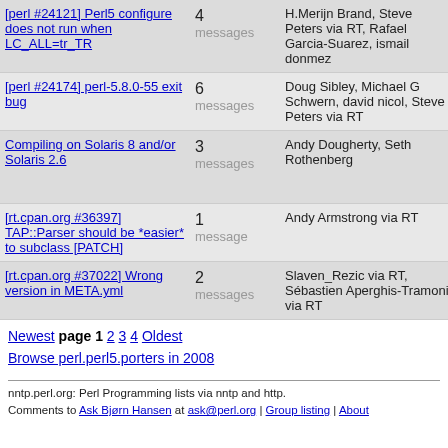| Thread | Messages | Authors |  |
| --- | --- | --- | --- |
| [perl #24121] Perl5 configure does not run when LC_ALL=tr_TR | 4 messages | H.Merijn Brand, Steve Peters via RT, Rafael Garcia-Suarez, ismail donmez |  |
| [perl #24174] perl-5.8.0-55 exit bug | 6 messages | Doug Sibley, Michael G Schwern, david nicol, Steve Peters via RT |  |
| Compiling on Solaris 8 and/or Solaris 2.6 | 3 messages | Andy Dougherty, Seth Rothenberg |  |
| [rt.cpan.org #36397] TAP::Parser should be *easier* to subclass [PATCH] | 1 message | Andy Armstrong via RT |  |
| [rt.cpan.org #37022] Wrong version in META.yml | 2 messages | Slaven_Rezic via RT, Sébastien Aperghis-Tramoni via RT |  |
Newest page 1 2 3 4 Oldest
Browse perl.perl5.porters in 2008
nntp.perl.org: Perl Programming lists via nntp and http. Comments to Ask Bjørn Hansen at ask@perl.org | Group listing | About